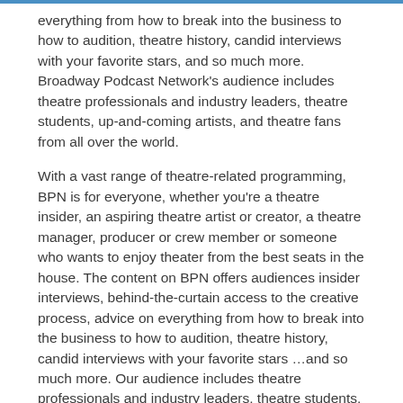everything from how to break into the business to how to audition, theatre history, candid interviews with your favorite stars, and so much more. Broadway Podcast Network's audience includes theatre professionals and industry leaders, theatre students, up-and-coming artists, and theatre fans from all over the world.
With a vast range of theatre-related programming, BPN is for everyone, whether you're a theatre insider, an aspiring theatre artist or creator, a theatre manager, producer or crew member or someone who wants to enjoy theater from the best seats in the house. The content on BPN offers audiences insider interviews, behind-the-curtain access to the creative process, advice on everything from how to break into the business to how to audition, theatre history, candid interviews with your favorite stars …and so much more. Our audience includes theatre professionals and industry leaders, theatre students, up-and-coming artists and theatre fans from all over the world.
Sessions in which Broadway Podcast Network participates